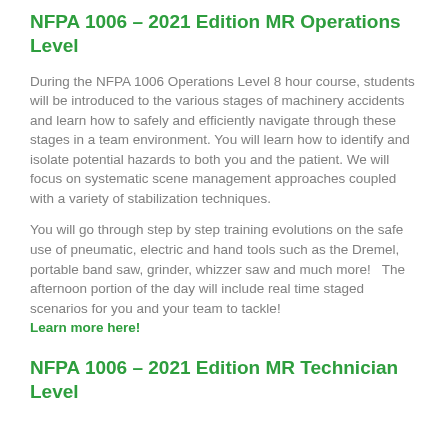NFPA 1006 – 2021 Edition MR Operations Level
During the NFPA 1006 Operations Level 8 hour course, students will be introduced to the various stages of machinery accidents and learn how to safely and efficiently navigate through these stages in a team environment. You will learn how to identify and isolate potential hazards to both you and the patient. We will focus on systematic scene management approaches coupled with a variety of stabilization techniques.
You will go through step by step training evolutions on the safe use of pneumatic, electric and hand tools such as the Dremel, portable band saw, grinder, whizzer saw and much more!   The afternoon portion of the day will include real time staged scenarios for you and your team to tackle!
Learn more here!
NFPA 1006 – 2021 Edition MR Technician Level